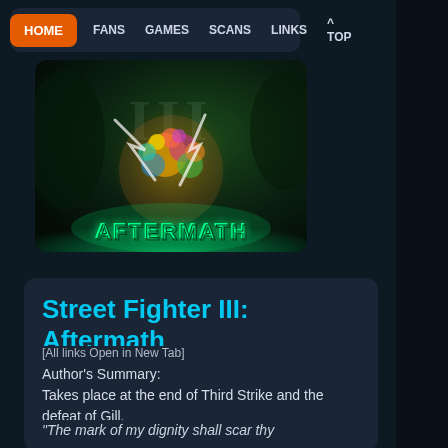HOME | FANS | GAMES | SCANS | LINKS | ^ TOP
[Figure (illustration): Game banner image for Street Fighter III: Aftermath showing colorful characters clustered together with 'AFTERMATH' text in green at the bottom, on a dark forest-like background with glowing green light.]
Street Fighter III: Aftermath
[All links Open in New Tab]
Author's Summary:
Takes place at the end of Third Strike and the defeat of Gill.
"The mark of my dignity shall scar thy